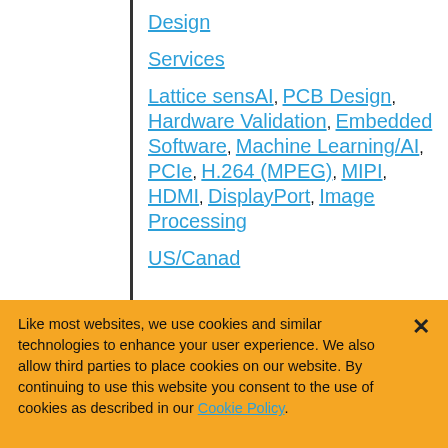Design
Services
Lattice sensAI, PCB Design, Hardware Validation, Embedded Software, Machine Learning/AI, PCIe, H.264 (MPEG), MIPI, HDMI, DisplayPort, Image Processing
US/Canad
Like most websites, we use cookies and similar technologies to enhance your user experience. We also allow third parties to place cookies on our website. By continuing to use this website you consent to the use of cookies as described in our Cookie Policy.